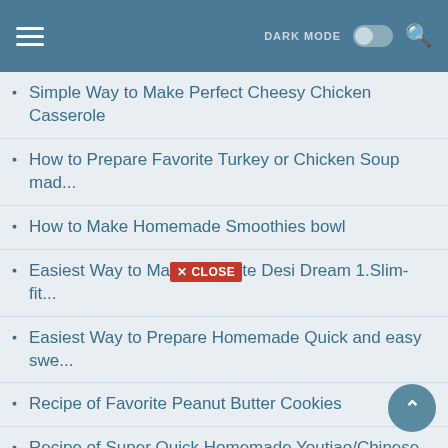DARK MODE [toggle] [search]
Simple Way to Make Perfect Cheesy Chicken Casserole
How to Prepare Favorite Turkey or Chicken Soup mad...
How to Make Homemade Smoothies bowl
Easiest Way to Ma [X CLOSE] te Desi Dream 1.Slim-fit...
Easiest Way to Prepare Homemade Quick and easy swe...
Recipe of Favorite Peanut Butter Cookies
Recipe of Super Quick Homemade Youtiao/Chinese Fri...
Steps to Prepare Ultimate Ginger Cookie Stars!
Simple Way to Make Homemade Zaatar wheat bread
Recipe of Ultimate Roast Pork
Recipe of Any-night-of-the-week Black Bean Taco Soup